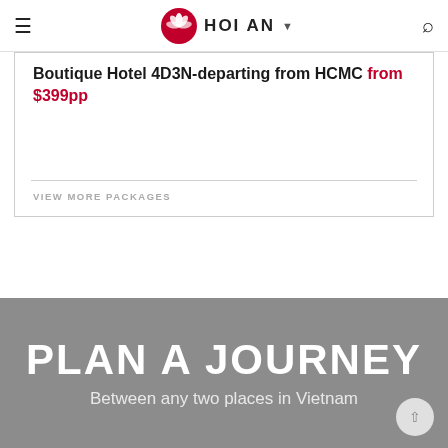HOI AN
Boutique Hotel 4D3N-departing from HCMC from $399pp
VIEW MORE PACKAGES
PLAN A JOURNEY
Between any two places in Vietnam